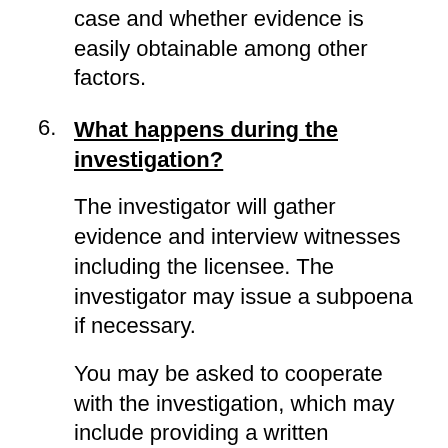case and whether evidence is easily obtainable among other factors.
6. What happens during the investigation?
The investigator will gather evidence and interview witnesses including the licensee. The investigator may issue a subpoena if necessary.
You may be asked to cooperate with the investigation, which may include providing a written statement, providing additional supporting documentation.